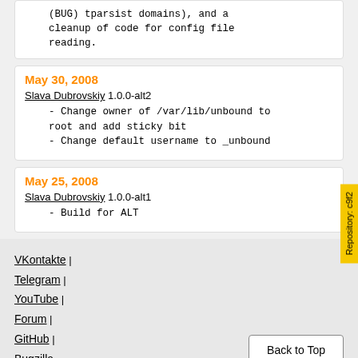(BUG) tparsist domains), and a cleanup of code for config file reading.
May 30, 2008
Slava Dubrovskiy 1.0.0-alt2
    - Change owner of /var/lib/unbound to root and add sticky bit
    - Change default username to _unbound
May 25, 2008
Slava Dubrovskiy 1.0.0-alt1
    - Build for ALT
VKontakte | Telegram | YouTube | Forum | GitHub | Bugzilla